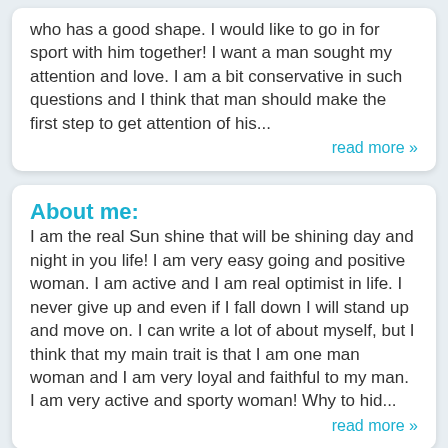who has a good shape. I would like to go in for sport with him together! I want a man sought my attention and love. I am a bit conservative in such questions and I think that man should make the first step to get attention of his...
read more »
About me:
I am the real Sun shine that will be shining day and night in you life! I am very easy going and positive woman. I am active and I am real optimist in life. I never give up and even if I fall down I will stand up and move on. I can write a lot of about myself, but I think that my main trait is that I am one man woman and I am very loyal and faithful to my man. I am very active and sporty woman! Why to hid...
read more »
Questionnaire:
Qualities that I appreciate in people the most: First of all I do appreciate honesty. For me honesty it is the foundation of strong relationships. I also think that people should love each other and possibility to forgive is very importnat, as time after time each of as can make the